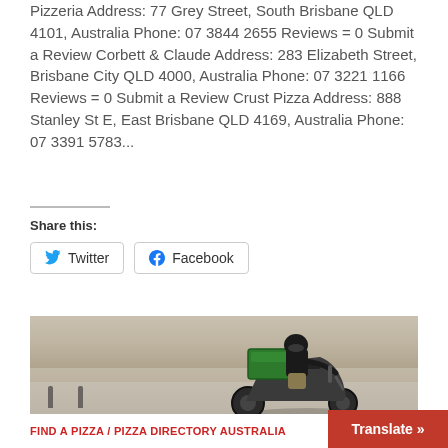Pizzeria Address: 77 Grey Street, South Brisbane QLD 4101, Australia Phone: 07 3844 2655 Reviews = 0 Submit a Review Corbett & Claude Address: 283 Elizabeth Street, Brisbane City QLD 4000, Australia Phone: 07 3221 1166 Reviews = 0 Submit a Review Crust Pizza Address: 888 Stanley St E, East Brisbane QLD 4169, Australia Phone: 07 3391 5783...
Share this:
[Figure (other): Twitter share button]
[Figure (other): Facebook share button]
[Figure (photo): A person riding a scooter with a green delivery box on the back, along a street with a stone wall in the background.]
FIND A PIZZA / PIZZA DIRECTORY AUSTRALIA
Translate »